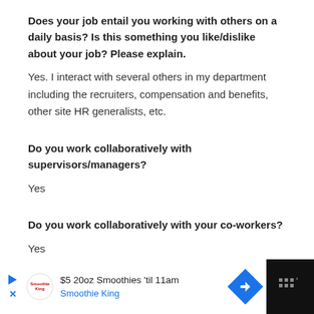Does your job entail you working with others on a daily basis? Is this something you like/dislike about your job? Please explain.
Yes. I interact with several others in my department including the recruiters, compensation and benefits, other site HR generalists, etc.
Do you work collaboratively with supervisors/managers?
Yes
Do you work collaboratively with your co-workers?
Yes
[Figure (other): Advertisement banner: Smoothie King – $5 20oz Smoothies 'til 11am]